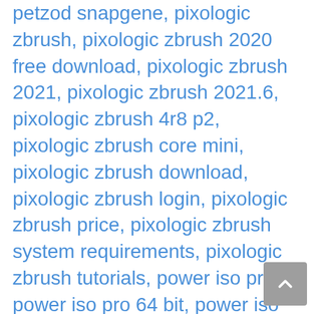petzod snapgene, pixologic zbrush, pixologic zbrush 2020 free download, pixologic zbrush 2021, pixologic zbrush 2021.6, pixologic zbrush 4r8 p2, pixologic zbrush core mini, pixologic zbrush download, pixologic zbrush login, pixologic zbrush price, pixologic zbrush system requirements, pixologic zbrush tutorials, power iso pro, power iso pro 64 bit, power iso pro download, power iso pro full, power iso product, power iso product key, power iso program, power iso program for mac, poweriso for macbook pro, poweriso portable, PowerISO Pro Crack, poweriso pro free, poweriso pro getintopc, puc19 snapgene, recuva pro full v2 download,